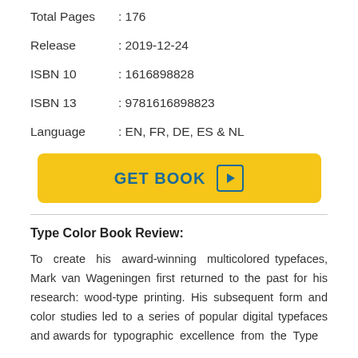Total Pages : 176
Release : 2019-12-24
ISBN 10 : 1616898828
ISBN 13 : 9781616898823
Language : EN, FR, DE, ES & NL
GET BOOK
Type Color Book Review:
To create his award-winning multicolored typefaces, Mark van Wageningen first returned to the past for his research: wood-type printing. His subsequent form and color studies led to a series of popular digital typefaces and awards for typographic excellence from the Type